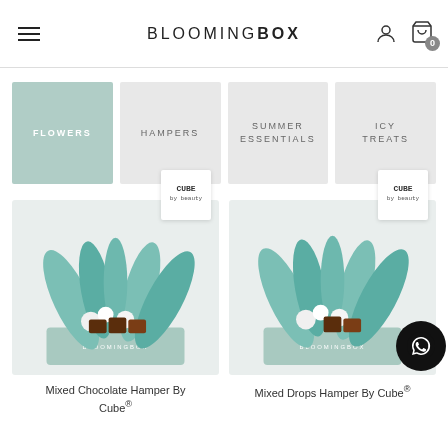BLOOMINGBOX
FLOWERS
HAMPERS
SUMMER ESSENTIALS
ICY TREATS
[Figure (photo): Mixed Chocolate Hamper By Cube - flower arrangement with teal/blue palm leaves, white orchids, and chocolate boxes in a mint green box]
Mixed Chocolate Hamper By Cube®
[Figure (photo): Mixed Drops Hamper By Cube - flower arrangement with teal/blue palm leaves, white orchids, and chocolate drops in a mint green box]
Mixed Drops Hamper By Cube®